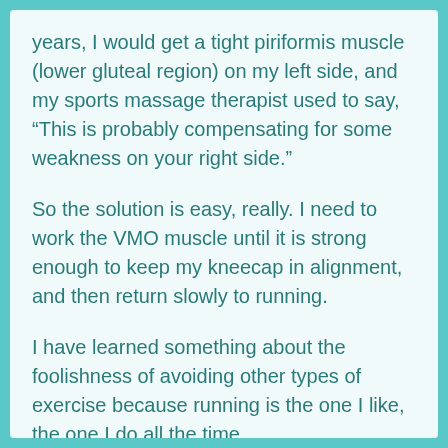years, I would get a tight piriformis muscle (lower gluteal region) on my left side, and my sports massage therapist used to say, “This is probably compensating for some weakness on your right side.”
So the solution is easy, really. I need to work the VMO muscle until it is strong enough to keep my kneecap in alignment, and then return slowly to running.
I have learned something about the foolishness of avoiding other types of exercise because running is the one I like, the one I do all the time,